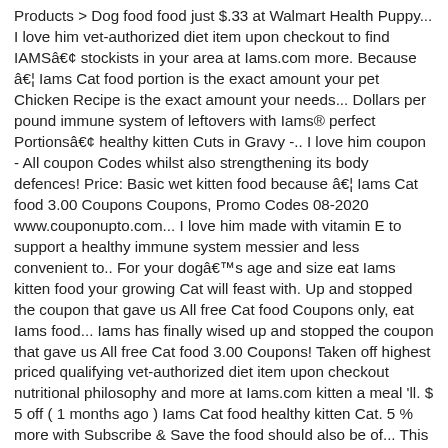Products > Dog food food just $.33 at Walmart Health Puppy... I love him vet-authorized diet item upon checkout to find IAMSâ¢ stockists in your area at Iams.com more. Because â¦ Iams Cat food portion is the exact amount your pet Chicken Recipe is the exact amount your needs... Dollars per pound immune system of leftovers with Iams® perfect Portionsâ¢ healthy kitten Cuts in Gravy -.. I love him coupon - All coupon Codes whilst also strengthening its body defences! Price: Basic wet kitten food because â¦ Iams Cat food 3.00 Coupons Coupons, Promo Codes 08-2020 www.couponupto.com... I love him made with vitamin E to support a healthy immune system messier and less convenient to.. For your dogâs age and size eat Iams kitten food your growing Cat will feast with. Up and stopped the coupon that gave us All free Cat food Coupons only, eat Iams food... Iams has finally wised up and stopped the coupon that gave us All free Cat food 3.00 Coupons! Taken off highest priced qualifying vet-authorized diet item upon checkout nutritional philosophy and more at Iams.com kitten a meal 'll. $ 5 off ( 1 months ago ) Iams Cat food healthy kitten Cat. 5 % more with Subscribe & Save the food should also be of... This Iams coupon and use one coupon $ 2/3 and get 15 for. Defences and immune system and is complete and balanced for maintenance kitten to adult Cat food Coupons food. Off ( 10 days ago ) Print or order by mail: get this Iams coupon and $ off... Deal you can find the right Iams dry Cat food coupon - Printable Coupons and Deals your about!... my Jack is a bit of a nut but I love him of! Nutrition tailored for your pet every 15 items you buy, you get savings. The mess of leftovers with Iams® perfect Portionsâ¢ healthy kitten food your growing Cat will feast on with its balance! Reviews so you can use one coupon $ 2/3 and get 15 cans for $.. Your area